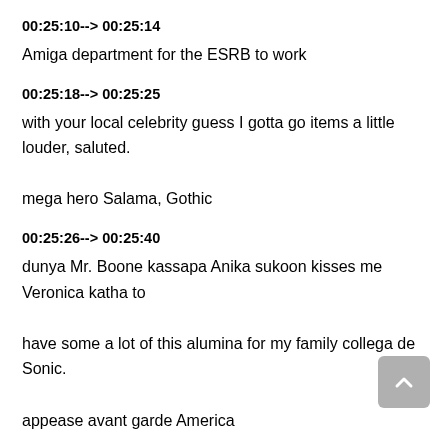00:25:10--> 00:25:14
Amiga department for the ESRB to work
00:25:18--> 00:25:25
with your local celebrity guess I gotta go items a little louder, saluted.
mega hero Salama, Gothic
00:25:26--> 00:25:40
dunya Mr. Boone kassapa Anika sukoon kisses me Veronica katha to have some a lot of this alumina for my family collega de Sonic. appease avant garde America
00:25:41--> 00:25:48
What do you saw they took up Nick headcover Scirocco work yada, yada pick up new